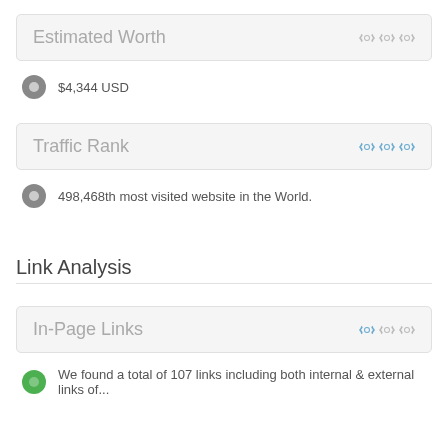Estimated Worth
$4,344 USD
Traffic Rank
498,468th most visited website in the World.
Link Analysis
In-Page Links
We found a total of 107 links including both internal & external links of...